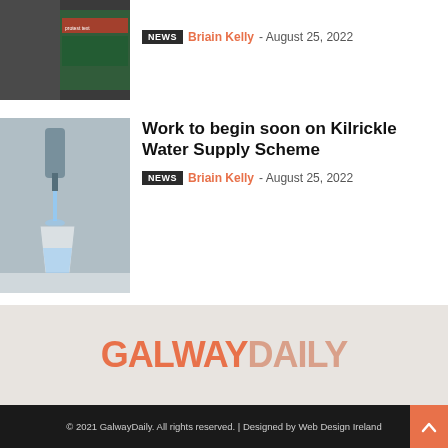[Figure (photo): Thumbnail image for first article – partially visible, appears to show a person with a protest-related banner/poster]
NEWS  Briain Kelly - August 25, 2022
[Figure (photo): Thumbnail image for second article – close-up of a tap/faucet with water running into a glass]
Work to begin soon on Kilrickle Water Supply Scheme
NEWS  Briain Kelly - August 25, 2022
[Figure (logo): GalwayDaily logo in orange and salmon/peach tones on a grey background]
© 2021 GalwayDaily. All rights reserved. | Designed by Web Design Ireland